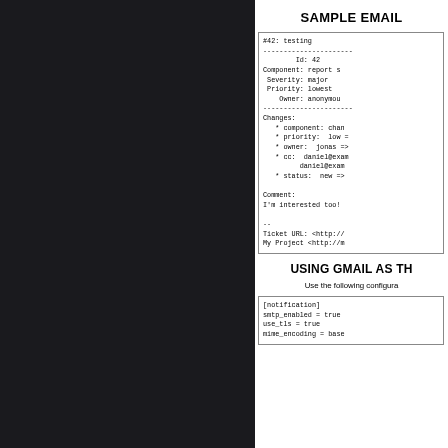SAMPLE EMAIL
[Figure (screenshot): Sample email content shown in a monospace code box with ticket details and changes]
USING GMAIL AS TH...
Use the following configura...
[Figure (screenshot): Configuration code box showing [notification] smtp_enabled = true, use_tls = true, mime_encoding = base...]